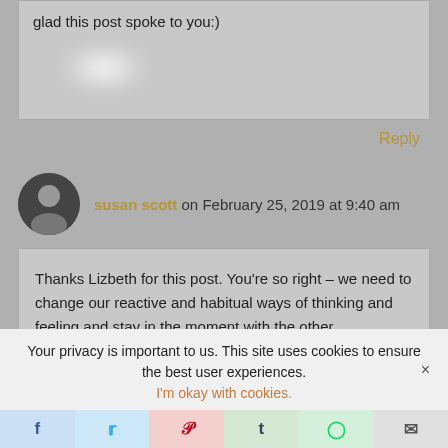glad this post spoke to you:)
Reply
susan scott on February 25, 2019 at 9:40 am
Thanks Lizbeth for this post. You're so right – we need to change our reactive and habitual ways of thinking and feeling and stay in the moment with the other. Compassion is a muscle that needs exercise – the more we practise it the stronger it will become.
Your privacy is important to us. This site uses cookies to ensure the best user experiences.
I'm okay with cookies.